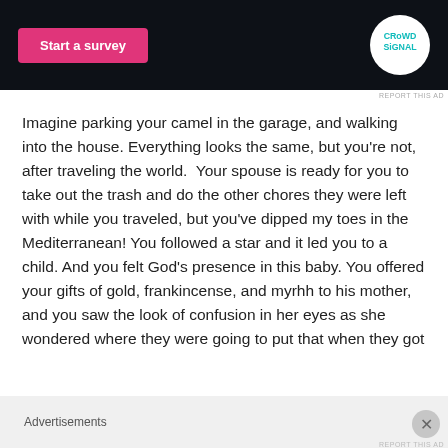[Figure (screenshot): Advertisement banner with dark background showing a pink 'Start a survey' button on the left and the Crowdsignal logo (white circle on dark background) on the right]
REPORT THIS AD
Imagine parking your camel in the garage, and walking into the house. Everything looks the same, but you're not, after traveling the world.  Your spouse is ready for you to take out the trash and do the other chores they were left with while you traveled, but you've dipped my toes in the Mediterranean! You followed a star and it led you to a child. And you felt God's presence in this baby. You offered your gifts of gold, frankincense, and myrhh to his mother, and you saw the look of confusion in her eyes as she wondered where they were going to put that when they got
Advertisements
REPORT THIS AD